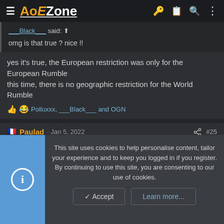AoEZone
___Black___ said:
omg is that true ? nice !!
yes it's true, the European restriction was only for the European Rumble
this time, there is no geographic restriction for the World Rumble
Polluxxx, ___Black___ and OGN
Paulad · Jan 5, 2022  #25
Such a good event right after the kotd, already hyped, cocorico !
This site uses cookies to help personalise content, tailor your experience and to keep you logged in if you register. By continuing to use this site, you are consenting to our use of cookies.